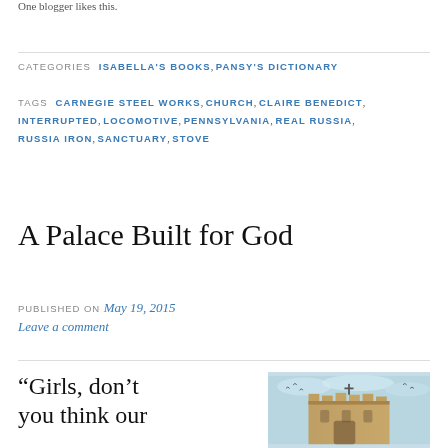One blogger likes this.
CATEGORIES  ISABELLA'S BOOKS, PANSY'S DICTIONARY
TAGS  CARNEGIE STEEL WORKS, CHURCH, CLAIRE BENEDICT, INTERRUPTED, LOCOMOTIVE, PENNSYLVANIA, REAL RUSSIA, RUSSIA IRON, SANCTUARY, STOVE
A Palace Built for God
PUBLISHED ON May 19, 2015
Leave a comment
“Girls, don’t you think our
[Figure (photo): Illustration of a castle tower with birds flying above, painted in watercolor style with warm brown and blue tones]